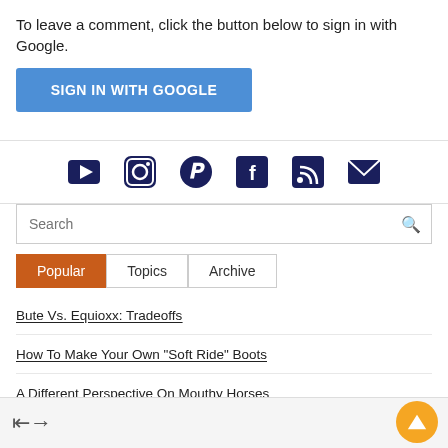To leave a comment, click the button below to sign in with Google.
SIGN IN WITH GOOGLE
[Figure (other): Social media icons row: YouTube (play button), Instagram (camera), Pinterest (P), Facebook (f), RSS (signal), Email (envelope)]
Search
Popular
Topics
Archive
Bute Vs. Equioxx: Tradeoffs
How To Make Your Own "Soft Ride" Boots
A Different Perspective On Mouthy Horses
Wound Wars: The Battle Of Proud Flesh
Boots Are Never 100% Easy: Review Of The New EasyBoot Fury